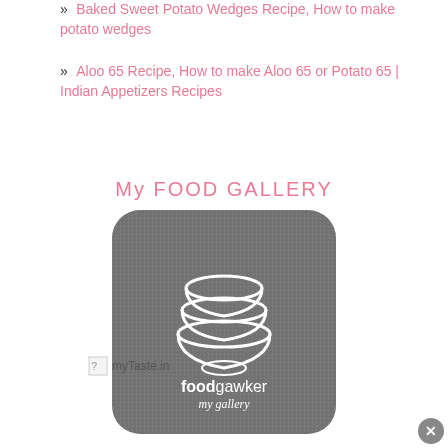Baked Sweet Potato Wedges Recipe, How to make potato wedges
Aloo 65 Recipe, How to make Aloo 65 or Potato 65 | Indian Appetizers Recipes
My FOOD GALLERY
[Figure (logo): foodgawker my gallery logo - dark rounded square with stacked bowls icon and text 'foodgawker my gallery']
[Figure (logo): myTaste.in broken image placeholder]
[Figure (logo): Small broken image placeholder with overlapping text: 560 Food Blogs / Morphy Richards / 560 Recipes / Blogs]